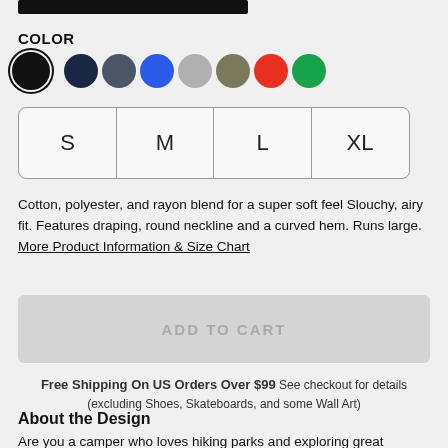[Figure (other): Black top bar / product image top crop]
COLOR
[Figure (other): Color swatches: black (selected), navy, slate, blue, light gray, taupe, red, green]
S
M
L
XL
Cotton, polyester, and rayon blend for a super soft feel Slouchy, airy fit. Features draping, round neckline and a curved hem. Runs large. More Product Information & Size Chart
ADD TO CART
Free Shipping On US Orders Over $99 See checkout for details (excluding Shoes, Skateboards, and some Wall Art)
About the Design
Are you a camper who loves hiking parks and exploring great outdoors? This is the perfect tee for you from our camper who loves...